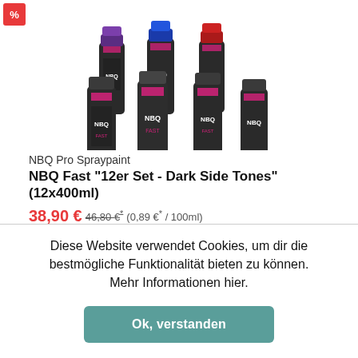[Figure (photo): Multiple NBQ Pro Spraypaint cans arranged in a cluster, showing dark cans with purple, blue, and red caps against a white background. A red percentage discount badge is visible in the top-left corner.]
NBQ Pro Spraypaint
NBQ Fast "12er Set - Dark Side Tones" (12x400ml)
38,90 € 46,80 €* (0,89 €* / 100ml)
Diese Website verwendet Cookies, um dir die bestmögliche Funktionalität bieten zu können. Mehr Informationen hier.